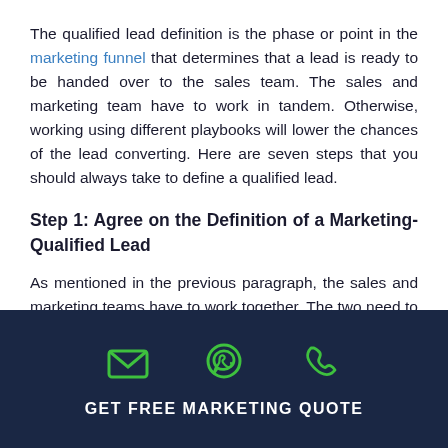The qualified lead definition is the phase or point in the marketing funnel that determines that a lead is ready to be handed over to the sales team. The sales and marketing team have to work in tandem. Otherwise, working using different playbooks will lower the chances of the lead converting. Here are seven steps that you should always take to define a qualified lead.
Step 1: Agree on the Definition of a Marketing-Qualified Lead
As mentioned in the previous paragraph, the sales and marketing teams have to work together. The two need to agree on the definition of a marketing-qualified lead to make the process of conversion smooth. Unless you take the time to
GET FREE MARKETING QUOTE